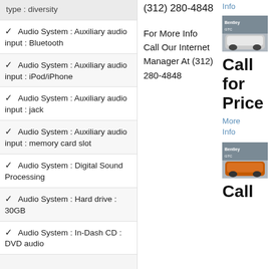type : diversity
✓ Audio System : Auxiliary audio input : Bluetooth
✓ Audio System : Auxiliary audio input : iPod/iPhone
✓ Audio System : Auxiliary audio input : jack
✓ Audio System : Auxiliary audio input : memory card slot
✓ Audio System : Digital Sound Processing
✓ Audio System : Hard drive : 30GB
✓ Audio System : In-Dash CD : DVD audio
(312) 280-4848
For More Info Call Our Internet Manager At (312) 280-4848
Info
[Figure (photo): White Bentley Continental GTC parked in front of a building]
Call for Price
More
Info
[Figure (photo): Orange Bentley Continental GTC parked in front of a building]
Call